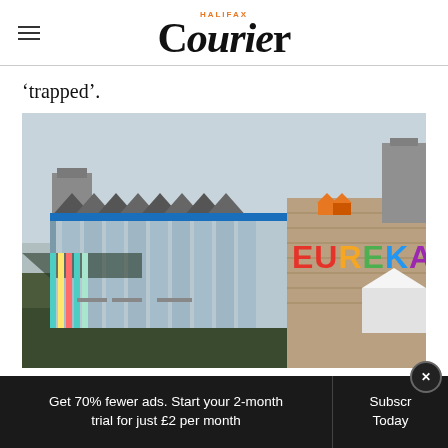HALIFAX Courier
‘trapped’.
[Figure (photo): Exterior photograph of the Eureka! children's museum building in Halifax, showing the colourful glass-fronted structure with the large EUREKA! sign on a brick wall. Aerial/elevated view showing surrounding grounds and nearby buildings.]
Get 70% fewer ads. Start your 2-month trial for just £2 per month
Subscribe Today